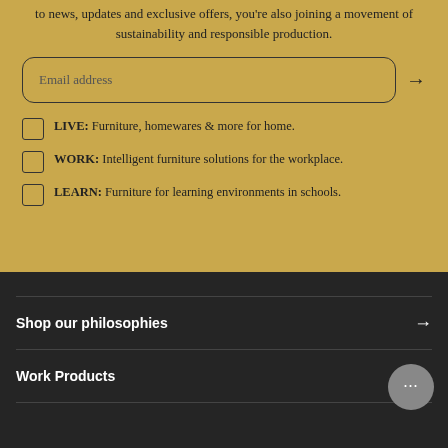to news, updates and exclusive offers, you're also joining a movement of sustainability and responsible production.
Email address
LIVE: Furniture, homewares & more for home.
WORK: Intelligent furniture solutions for the workplace.
LEARN: Furniture for learning environments in schools.
Shop our philosophies
Work Products